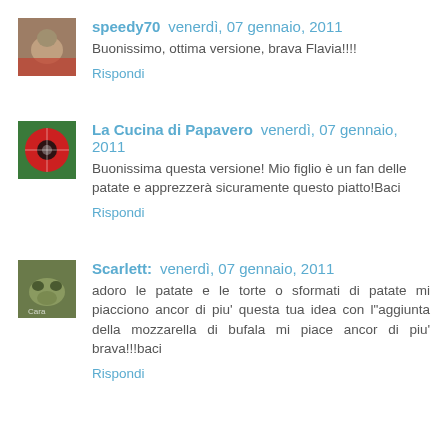speedy70  venerdì, 07 gennaio, 2011
Buonissimo, ottima versione, brava Flavia!!!!
Rispondi
La Cucina di Papavero  venerdì, 07 gennaio, 2011
Buonissima questa versione! Mio figlio è un fan delle patate e apprezzerà sicuramente questo piatto!Baci
Rispondi
Scarlett:  venerdì, 07 gennaio, 2011
adoro le patate e le torte o sformati di patate mi piacciono ancor di piu' questa tua idea con l"aggiunta della mozzarella di bufala mi piace ancor di piu' brava!!!baci
Rispondi